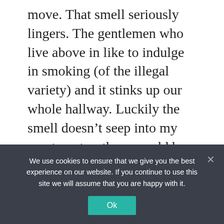move. That smell seriously lingers. The gentlemen who live above in like to indulge in smoking (of the illegal variety) and it stinks up our whole hallway. Luckily the smell doesn't seep into my apartment or there would be hell to pay. I wonder if that odor will be apparent when they move out?
Reply
Holly
We use cookies to ensure that we give you the best experience on our website. If you continue to use this site we will assume that you are happy with it.
Ok